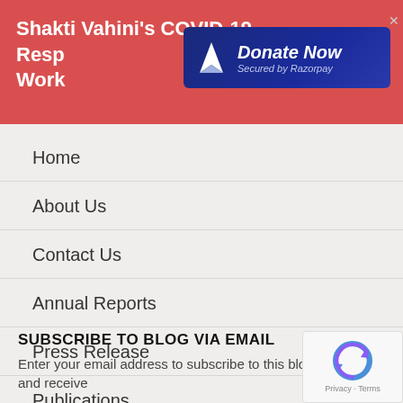Shakti Vahini's COVID-19 Resp Work
[Figure (other): Donate Now button - Secured by Razorpay, with paper plane icon on dark blue background]
Home
About Us
Contact Us
Annual Reports
Press Release
Publications
News
SUBSCRIBE TO BLOG VIA EMAIL
Enter your email address to subscribe to this blog and receive
[Figure (other): reCAPTCHA badge with Privacy and Terms links]